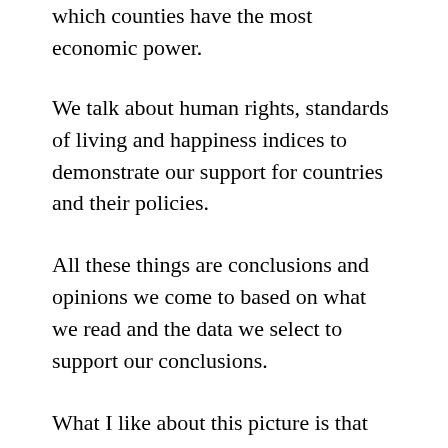which counties have the most economic power.
We talk about human rights, standards of living and happiness indices to demonstrate our support for countries and their policies.
All these things are conclusions and opinions we come to based on what we read and the data we select to support our conclusions.
What I like about this picture is that you can use it to sense check your conclusions